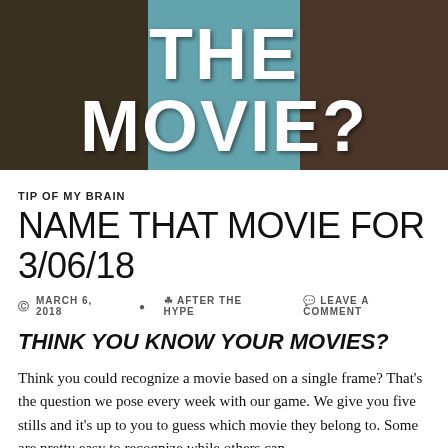[Figure (photo): Hero image with dark movie scene panels split into three columns, with bold white text overlay reading 'THE MOVIE?']
TIP OF MY BRAIN
NAME THAT MOVIE FOR 3/06/18
MARCH 6, 2018  AFTER THE HYPE  LEAVE A COMMENT
THINK YOU KNOW YOUR MOVIES?
Think you could recognize a movie based on a single frame? That's the question we pose every week with our game. We give you five stills and it's up to you to guess which movie they belong to. Some are pretty easy to recognize while others can